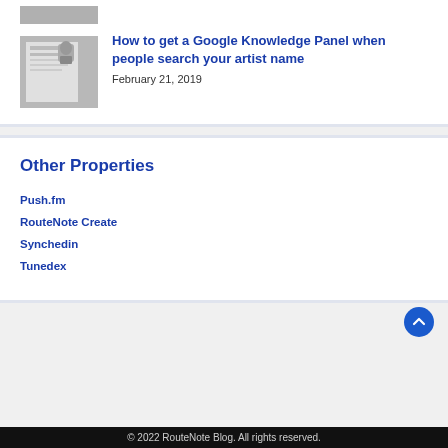[Figure (photo): Small grey thumbnail image stub at top of page, partially visible]
[Figure (photo): Thumbnail image of a document/profile page with a person visible, greyed out]
How to get a Google Knowledge Panel when people search your artist name
February 21, 2019
Other Properties
Push.fm
RouteNote Create
Synchedin
Tunedex
© 2022 RouteNote Blog. All rights reserved.